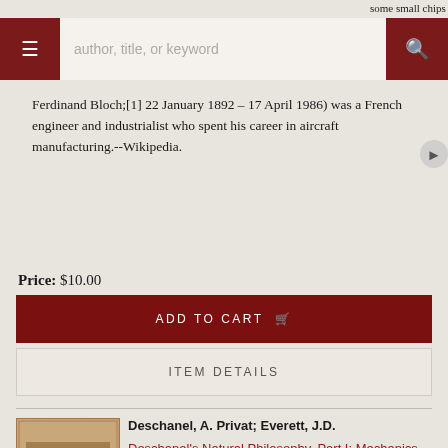author, title, or keyword
some small chips and small tears.
Ferdinand Bloch;[1] 22 January 1892 – 17 April 1986) was a French engineer and industrialist who spent his career in aircraft manufacturing.--Wikipedia.
Price: $10.00
ADD TO CART
ITEM DETAILS
Deschanel, A. Privat; Everett, J.D.
Deschanel's Natural Philosophy, Part I: Mechanics, Hydrostatics, and Pneumatics